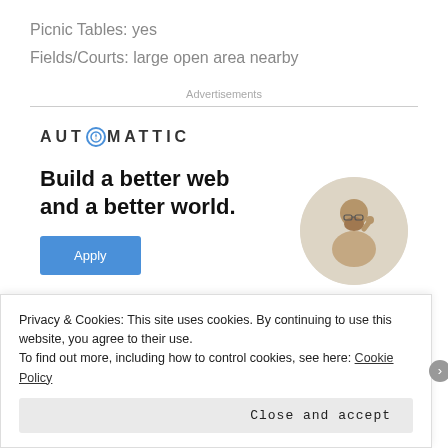Picnic Tables: yes
Fields/Courts: large open area nearby
Advertisements
[Figure (infographic): Automattic advertisement banner showing logo, headline 'Build a better web and a better world.' with an Apply button and a circular photo of a person]
Privacy & Cookies: This site uses cookies. By continuing to use this website, you agree to their use.
To find out more, including how to control cookies, see here: Cookie Policy
Close and accept